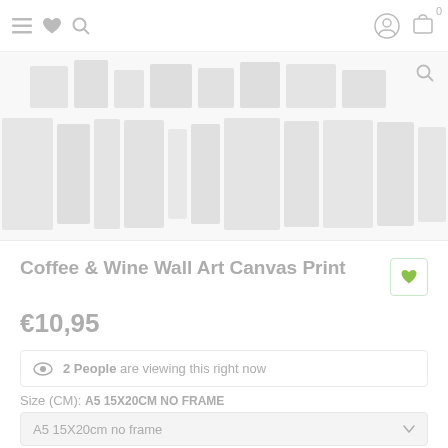Navigation bar with menu, heart/wishlist, search icons, user account and cart icons
[Figure (screenshot): E-commerce product image carousel showing multiple thumbnail images of Coffee & Wine Wall Art Canvas Print in light gray faded style]
Coffee & Wine Wall Art Canvas Print
€10,95
2 People are viewing this right now
Size (CM): A5 15X20CM NO FRAME
A5 15X20cm no frame